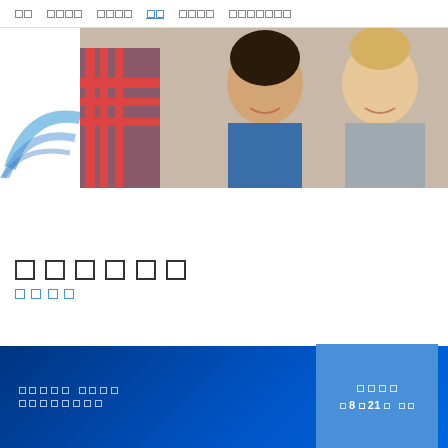□□  □□□□  □□□□  □□  □□□□  □□□□□□□
[Figure (photo): Two women smiling and looking at a computer screen together in an office/classroom setting, with a person in a plaid shirt visible on the left. A blue swoosh logo graphic is on the lower left.]
□□□□□□
□□□□
□□□□□ □□□□ □□□□□□□□□  |  □□□□  □ 8□21□ □□